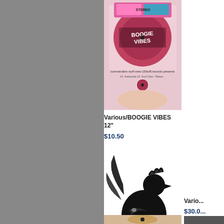[Figure (photo): Vinyl record cover for Various/BOOGIE VIBES 12 inch, showing a colorful record label with text Boogie Vibes]
Various/BOOGIE VIBES 12"
$10.50
[Figure (photo): Vinyl record cover for Various/BRAN001 12 inch, showing black ink illustration of a rooster/cockerel]
Various/BRAN001 12"
$18.00
[Figure (photo): Partially visible vinyl record label at bottom of page]
[Figure (photo): Partially visible second product image on right side, appears to be a dark/black cover]
Vario... 7"
$30.0...
[Figure (photo): Partially visible second product image on right side, appears to show an illustration in warm tones]
Vario...
$30.0...